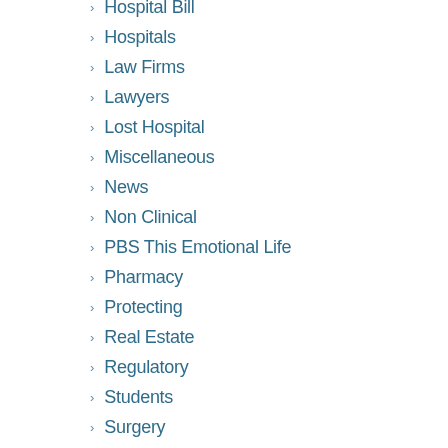Hospital Bill
Hospitals
Law Firms
Lawyers
Lost Hospital
Miscellaneous
News
Non Clinical
PBS This Emotional Life
Pharmacy
Protecting
Real Estate
Regulatory
Students
Surgery
Technology
Uncategorized